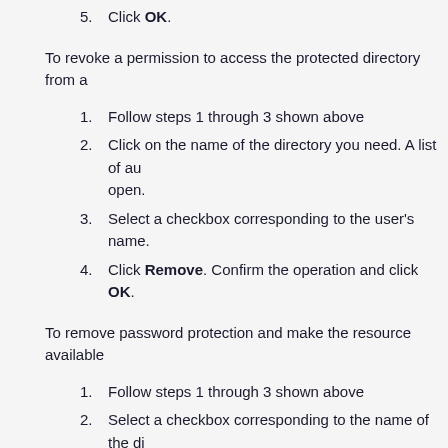5. Click OK.
To revoke a permission to access the protected directory from a
1. Follow steps 1 through 3 shown above
2. Click on the name of the directory you need. A list of au... open.
3. Select a checkbox corresponding to the user's name.
4. Click Remove. Confirm the operation and click OK.
To remove password protection and make the resource available
1. Follow steps 1 through 3 shown above
2. Select a checkbox corresponding to the name of the dir... want to remove protection.
3. Click Remove Protection. The protection will be remov...